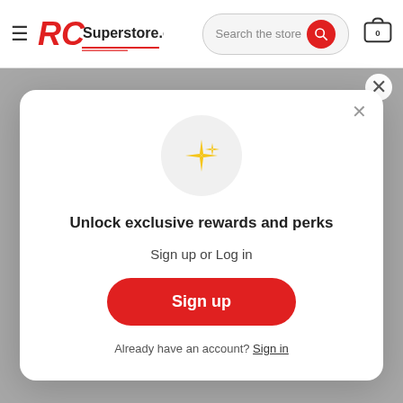RCSuperstore.com — Search the store — Cart
[Figure (logo): RCSuperstore.com logo shown in gray background area behind modal]
Exclusive Offers
[Figure (illustration): Gold sparkle/star icon inside a light gray circle]
Unlock exclusive rewards and perks
Sign up or Log in
Sign up
Already have an account? Sign in